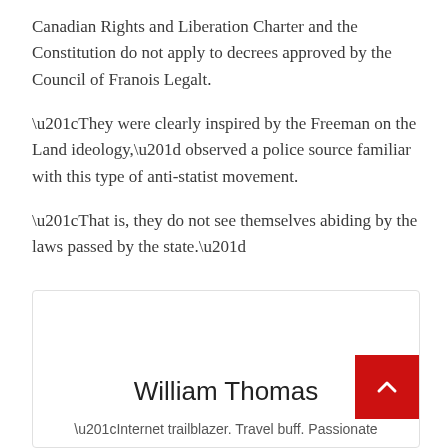Canadian Rights and Liberation Charter and the Constitution do not apply to decrees approved by the Council of Franois Legalt.
“They were clearly inspired by the Freeman on the Land ideology,” observed a police source familiar with this type of anti-statist movement.
“That is, they do not see themselves abiding by the laws passed by the state.”
[Figure (other): Author card box with name William Thomas and partial bio text]